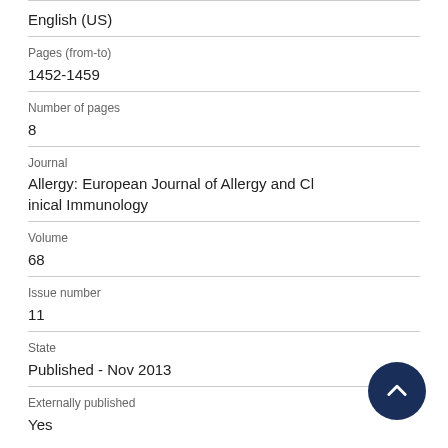English (US)
Pages (from-to)
1452-1459
Number of pages
8
Journal
Allergy: European Journal of Allergy and Clinical Immunology
Volume
68
Issue number
11
State
Published - Nov 2013
Externally published
Yes